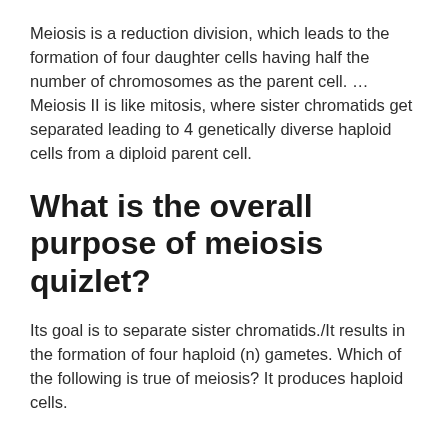Meiosis is a reduction division, which leads to the formation of four daughter cells having half the number of chromosomes as the parent cell. … Meiosis II is like mitosis, where sister chromatids get separated leading to 4 genetically diverse haploid cells from a diploid parent cell.
What is the overall purpose of meiosis quizlet?
Its goal is to separate sister chromatids./It results in the formation of four haploid (n) gametes. Which of the following is true of meiosis? It produces haploid cells.